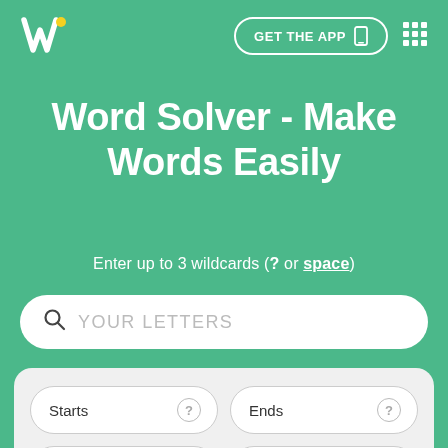[Figure (logo): Word Solver app logo — stylized white W on teal background with yellow dot accent]
GET THE APP
Word Solver - Make Words Easily
Enter up to 3 wildcards (? or space)
YOUR LETTERS
Starts
Ends
Contains
Length